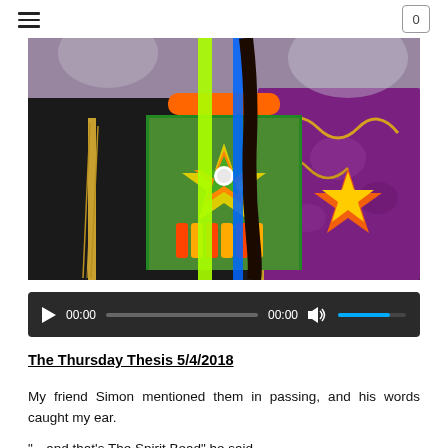Navigation menu | Cart: 0
[Figure (photo): Close-up photo of a person wearing colorful Native American traditional regalia with beaded breastplate featuring geometric star patterns in green, yellow, orange, and red; decorated ribbons in neon green and blue; gold fringe; and a floral patterned purple garment.]
[Figure (other): Audio player with play button, timestamps 00:00 / 00:00, progress bar, volume control showing blue fill bar]
The Thursday Thesis 5/4/2018
My friend Simon mentioned them in passing, and his words caught my ear.
“...and that’s The Spirit Bead” he said